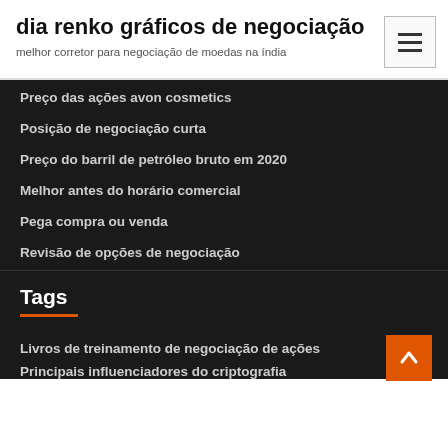dia renko gráficos de negociação
melhor corretor para negociação de moedas na índia
Preço das ações avon cosmetics
Posição de negociação curta
Preço do barril de petróleo bruto em 2020
Melhor antes do horário comercial
Pega compra ou venda
Revisão de opções de negociação
Tags
Livros de treinamento de negociação de ações
Principais influenciadores do criptografia